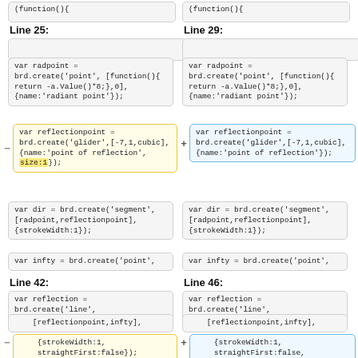(function(){
(function(){
Line 25:
Line 29:
var radpoint = brd.create('point', [function(){ return -a.Value()*8;},0], {name:'radiant point'});
var radpoint = brd.create('point', [function(){ return -a.Value()*8;},0], {name:'radiant point'});
var reflectionpoint = brd.create('glider',[-7,1,cubic], {name:'point of reflection', size:1});
var reflectionpoint = brd.create('glider',[-7,1,cubic], {name:'point of reflection'});
var dir = brd.create('segment', [radpoint,reflectionpoint], {strokeWidth:1});
var dir = brd.create('segment', [radpoint,reflectionpoint], {strokeWidth:1});
var infty = brd.create('point',
var infty = brd.create('point',
Line 42:
Line 46:
var reflection = brd.create('line',
var reflection = brd.create('line',
[reflectionpoint,infty],
[reflectionpoint,infty],
{strokeWidth:1, straightFirst:false});
{strokeWidth:1, straightFirst:false, trace:true});